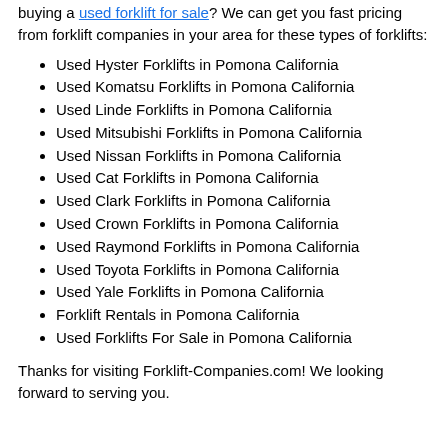buying a used forklift for sale? We can get you fast pricing from forklift companies in your area for these types of forklifts:
Used Hyster Forklifts in Pomona California
Used Komatsu Forklifts in Pomona California
Used Linde Forklifts in Pomona California
Used Mitsubishi Forklifts in Pomona California
Used Nissan Forklifts in Pomona California
Used Cat Forklifts in Pomona California
Used Clark Forklifts in Pomona California
Used Crown Forklifts in Pomona California
Used Raymond Forklifts in Pomona California
Used Toyota Forklifts in Pomona California
Used Yale Forklifts in Pomona California
Forklift Rentals in Pomona California
Used Forklifts For Sale in Pomona California
Thanks for visiting Forklift-Companies.com! We looking forward to serving you.